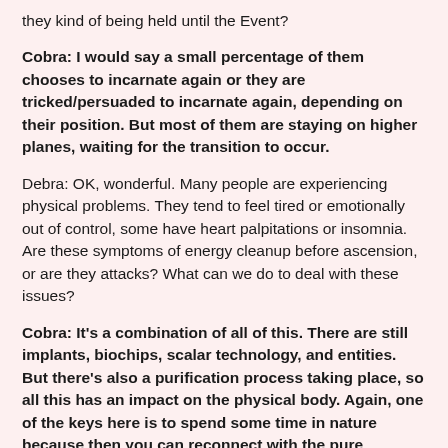they kind of being held until the Event?
Cobra: I would say a small percentage of them chooses to incarnate again or they are tricked/persuaded to incarnate again, depending on their position. But most of them are staying on higher planes, waiting for the transition to occur.
Debra: OK, wonderful. Many people are experiencing physical problems. They tend to feel tired or emotionally out of control, some have heart palpitations or insomnia. Are these symptoms of energy cleanup before ascension, or are they attacks? What can we do to deal with these issues?
Cobra: It's a combination of all of this. There are still implants, biochips, scalar technology, and entities. But there's also a purification process taking place, so all this has an impact on the physical body. Again, one of the keys here is to spend some time in nature because then you can reconnect with the pure crystalline energy and can help both your energy field